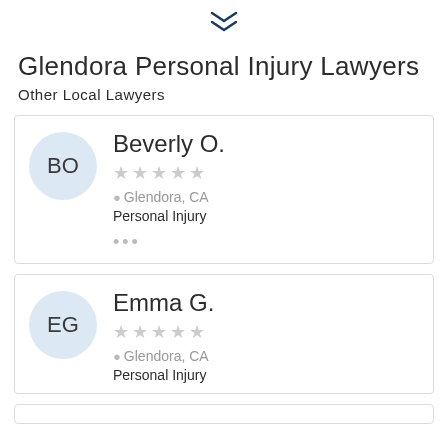[Figure (other): Double chevron down arrow icon in dark blue]
Glendora Personal Injury Lawyers
Other Local Lawyers
Beverly O. — Glendora, CA — Personal Injury
Emma G. — Glendora, CA — Personal Injury